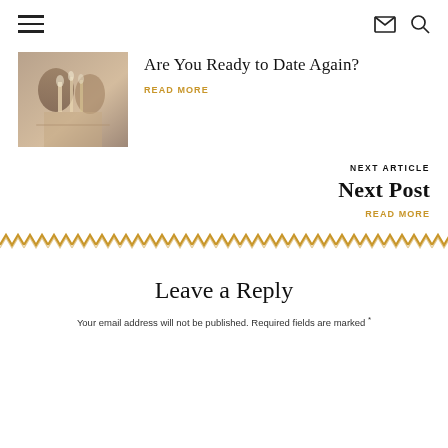☰  ✉ 🔍
[Figure (photo): Photo of people at a dining table with drinks and glasses, blurred warm tones]
Are You Ready to Date Again?
READ MORE
NEXT ARTICLE
Next Post
READ MORE
[Figure (illustration): Decorative zigzag/chevron border in gold/yellow pattern]
Leave a Reply
Your email address will not be published. Required fields are marked *